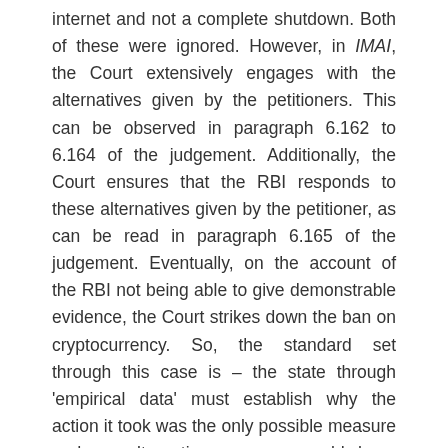internet and not a complete shutdown. Both of these were ignored. However, in IMAI, the Court extensively engages with the alternatives given by the petitioners. This can be observed in paragraph 6.162 to 6.164 of the judgement. Additionally, the Court ensures that the RBI responds to these alternatives given by the petitioner, as can be read in paragraph 6.165 of the judgement. Eventually, on the account of the RBI not being able to give demonstrable evidence, the Court strikes down the ban on cryptocurrency. So, the standard set through this case is – the state through 'empirical data' must establish why the action it took was the only possible measure and no alternative measure could have been adopted.
Hence, a simple perusal of the answers given by the Court to the same question puts us in a very